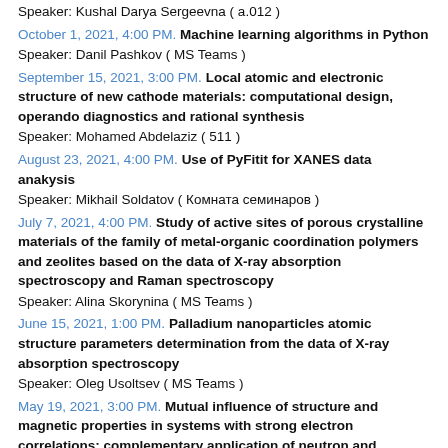Speaker: Kushal Darya Sergeevna ( a.012 )
October 1, 2021, 4:00 PM. Machine learning algorithms in Python
Speaker: Danil Pashkov ( MS Teams )
September 15, 2021, 3:00 PM. Local atomic and electronic structure of new cathode materials: computational design, operando diagnostics and rational synthesis
Speaker: Mohamed Abdelaziz ( 511 )
August 23, 2021, 4:00 PM. Use of PyFitit for XANES data anakysis
Speaker: Mikhail Soldatov ( Комната семинаров )
July 7, 2021, 4:00 PM. Study of active sites of porous crystalline materials of the family of metal-organic coordination polymers and zeolites based on the data of X-ray absorption spectroscopy and Raman spectroscopy
Speaker: Alina Skorynina ( MS Teams )
June 15, 2021, 1:00 PM. Palladium nanoparticles atomic structure parameters determination from the data of X-ray absorption spectroscopy
Speaker: Oleg Usoltsev ( MS Teams )
May 19, 2021, 3:00 PM. Mutual influence of structure and magnetic properties in systems with strong electron correlations: complementary application of neutron and synchrotron radiation scattering methods